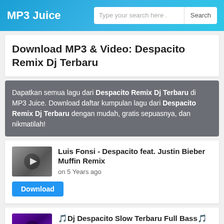MP3 Juice
Download MP3 & Video: Despacito Remix Dj Terbaru
Dapatkan semua lagu dari Despacito Remix Dj Terbaru di MP3 Juice. Download daftar kumpulan lagu dari Despacito Remix Dj Terbaru dengan mudah, gratis sepuasnya, dan nikmatilah!
Luis Fonsi - Despacito feat. Justin Bieber Muffin Remix
on 5 Years ago
🎵Dj Despacito Slow Terbaru Full Bass🎵 Viral Tiktok 2021DJ ACAN RIMEX🎵
on 1 Year ago